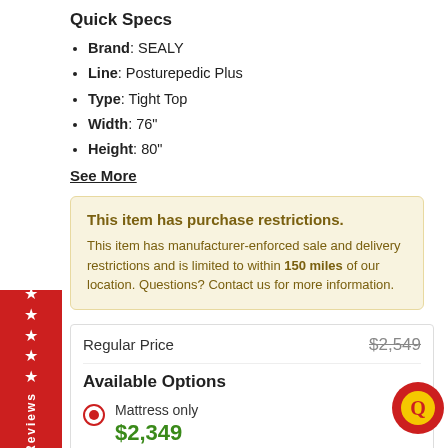Quick Specs
Brand: SEALY
Line: Posturepedic Plus
Type: Tight Top
Width: 76"
Height: 80"
See More
This item has purchase restrictions. This item has manufacturer-enforced sale and delivery restrictions and is limited to within 150 miles of our location. Questions? Contact us for more information.
Regular Price $2,549
Available Options
Mattress only $2,349
Mattress with standard box spring as set